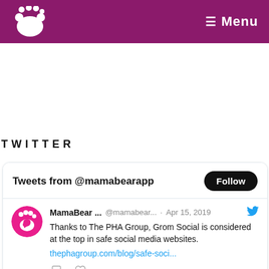MamaBear App — Menu
TWITTER
Tweets from @mamabearapp
MamaBear ... @mamabear... · Apr 15, 2019 — Thanks to The PHA Group, Grom Social is considered at the top in safe social media websites. thephagroup.com/blog/safe-soci...
MamaBear @mamabear... Apr 10, 2019